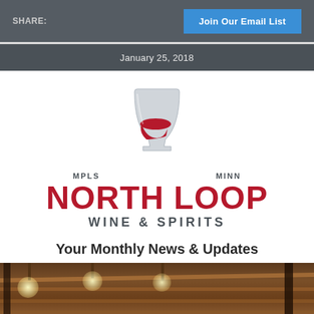SHARE: | Join Our Email List
January 25, 2018
[Figure (logo): North Loop Wine & Spirits logo with wine glass icon, MPLS MINN text, NORTH LOOP in large red letters, WINE & SPIRITS subtitle]
Your Monthly News & Updates
[Figure (photo): Interior of wine/spirits store showing exposed ceiling with beams, track lighting, and industrial decor]